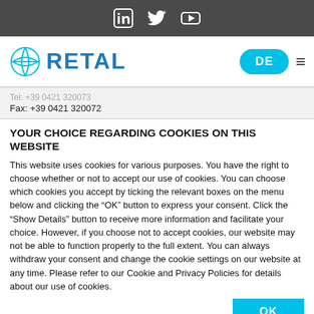[Figure (logo): Social media icons bar with LinkedIn, Twitter, YouTube icons on dark gray background]
[Figure (logo): Retal company logo with blue sphere icon and RETAL text, DE language button, hamburger menu]
Tel: +39 0421 320073
Fax: +39 0421 320072
YOUR CHOICE REGARDING COOKIES ON THIS WEBSITE
This website uses cookies for various purposes. You have the right to choose whether or not to accept our use of cookies. You can choose which cookies you accept by ticking the relevant boxes on the menu below and clicking the “OK” button to express your consent. Click the “Show Details” button to receive more information and facilitate your choice. However, if you choose not to accept cookies, our website may not be able to function properly to the full extent. You can always withdraw your consent and change the cookie settings on our website at any time. Please refer to our Cookie and Privacy Policies for details about our use of cookies.
OK
| Necessary | Preferences | Statistics | Show details |
| Marketing |  |  |  |